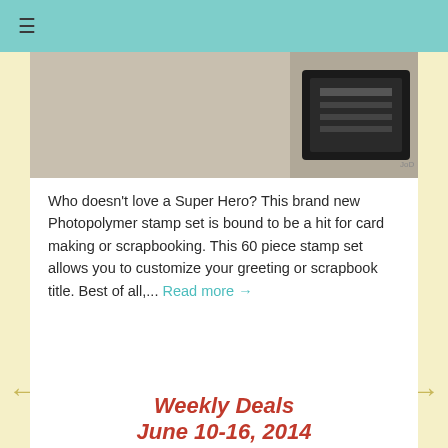≡
[Figure (photo): Partial image of a Super Hero photopolymer stamp set against a beige background, with a black stamp case visible on the right side.]
Who doesn't love a Super Hero? This brand new Photopolymer stamp set is bound to be a hit for card making or scrapbooking. This 60 piece stamp set allows you to customize your greeting or scrapbook title. Best of all,... Read more →
Posted at 02:48 AM | Permalink | Comments (0)
[Figure (infographic): Social sharing buttons: Twitter (blue), Pinterest (red), Facebook (blue-gray)]
Weekly Deals June 10-16, 2014